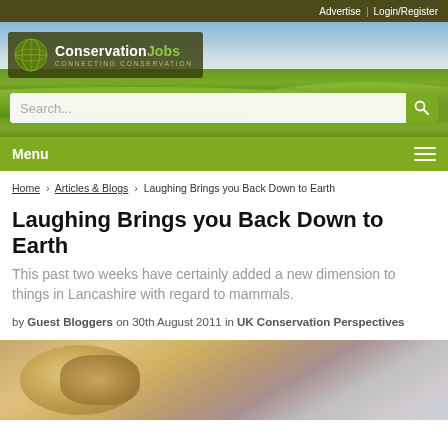Advertise | Login/Register
[Figure (screenshot): ConservationJobs website header with logo, landscape photo background of green hills and sky, search bar, and navigation menu bar]
Home › Articles & Blogs › Laughing Brings you Back Down to Earth
Laughing Brings you Back Down to Earth
This past two weeks have certainly added a new dimension to things in Lancashire with regard to mammals.
by Guest Bloggers on 30th August 2011 in UK Conservation Perspectives
[Figure (photo): Close-up photograph of a mammal, showing fur and nose detail in warm tan and grey tones]